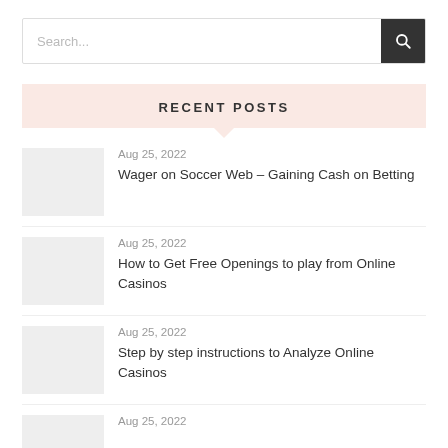Search...
RECENT POSTS
Aug 25, 2022 | Wager on Soccer Web – Gaining Cash on Betting
Aug 25, 2022 | How to Get Free Openings to play from Online Casinos
Aug 25, 2022 | Step by step instructions to Analyze Online Casinos
Aug 25, 2022